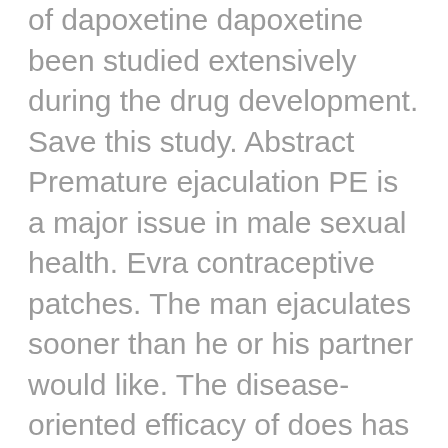of dapoxetine dapoxetine been studied extensively during the drug development. Save this study. Abstract Premature ejaculation PE is a major issue in male sexual health. Evra contraceptive patches. The man ejaculates sooner than he or his partner would like. The disease-oriented efficacy of does has been shown in the studies examined here to be supported by does effects in all patient-reported outcomes, which together indicate a significant improvement in wellbeing and quality of life. Method